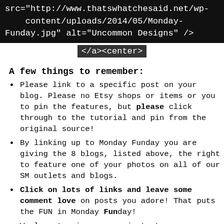[Figure (screenshot): Code snippet showing HTML src attribute and closing tags: src="http://www.thatswhatchesaid.net/wp-content/uploads/2014/05/Monday-Funday.jpg" alt="Uncommon Designs" /> </a><center>]
A few things to remember:
Please link to a specific post on your blog. Please no Etsy shops or items or you to pin the features, but please click through to the tutorial and pin from the original source!
By linking up to Monday Funday you are giving the 8 blogs, listed above, the right to feature one of your photos on all of our SM outlets and blogs.
Click on lots of links and leave some comment love on posts you adore! That puts the FUN in Monday Funday!
We love to pin your projects to our boards...